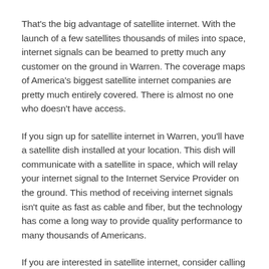That's the big advantage of satellite internet. With the launch of a few satellites thousands of miles into space, internet signals can be beamed to pretty much any customer on the ground in Warren. The coverage maps of America's biggest satellite internet companies are pretty much entirely covered. There is almost no one who doesn't have access.
If you sign up for satellite internet in Warren, you'll have a satellite dish installed at your location. This dish will communicate with a satellite in space, which will relay your internet signal to the Internet Service Provider on the ground. This method of receiving internet signals isn't quite as fast as cable and fiber, but the technology has come a long way to provide quality performance to many thousands of Americans.
If you are interested in satellite internet, consider calling us today to explore what options you have in